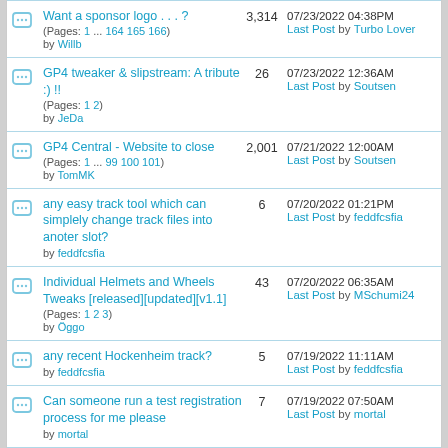Want a sponsor logo . . . ? (Pages: 1 ... 164 165 166) by Willb | 3,314 | 07/23/2022 04:38PM Last Post by Turbo Lover
GP4 tweaker & slipstream: A tribute :) !! (Pages: 1 2) by JeDa | 26 | 07/23/2022 12:36AM Last Post by Soutsen
GP4 Central - Website to close (Pages: 1 ... 99 100 101) by TomMK | 2,001 | 07/21/2022 12:00AM Last Post by Soutsen
any easy track tool which can simplely change track files into anoter slot? by feddfcsfia | 6 | 07/20/2022 01:21PM Last Post by feddfcsfia
Individual Helmets and Wheels Tweaks [released][updated][v1.1] (Pages: 1 2 3) by Öggo | 43 | 07/20/2022 06:35AM Last Post by MSchumi24
any recent Hockenheim track? by feddfcsfia | 5 | 07/19/2022 11:11AM Last Post by feddfcsfia
Can someone run a test registration process for me please by mortal | 7 | 07/19/2022 07:50AM Last Post by mortal